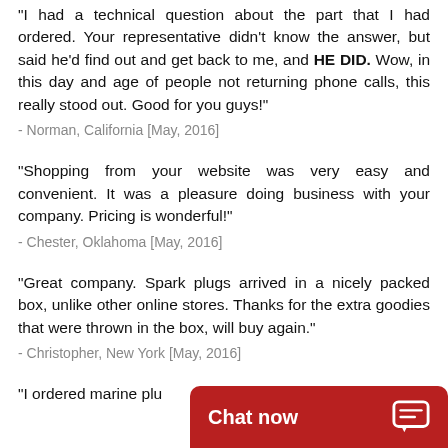"I had a technical question about the part that I had ordered. Your representative didn't know the answer, but said he'd find out and get back to me, and HE DID. Wow, in this day and age of people not returning phone calls, this really stood out. Good for you guys!"
- Norman, California [May, 2016]
"Shopping from your website was very easy and convenient. It was a pleasure doing business with your company. Pricing is wonderful!"
- Chester, Oklahoma [May, 2016]
"Great company. Spark plugs arrived in a nicely packed box, unlike other online stores. Thanks for the extra goodies that were thrown in the box, will buy again."
- Christopher, New York [May, 2016]
"I ordered marine plu
[Figure (other): Chat now button overlay at bottom right with speech bubble icon]